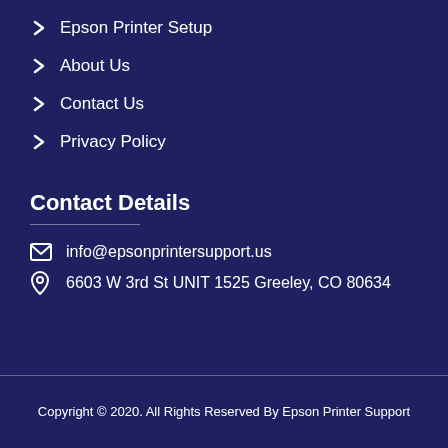Epson Printer Setup
About Us
Contact Us
Privacy Policy
Contact Details
info@epsonprintersupport.us
6603 W 3rd St UNIT 1525 Greeley, CO 80634
Copyright © 2020. All Rights Reserved By Epson Printer Support